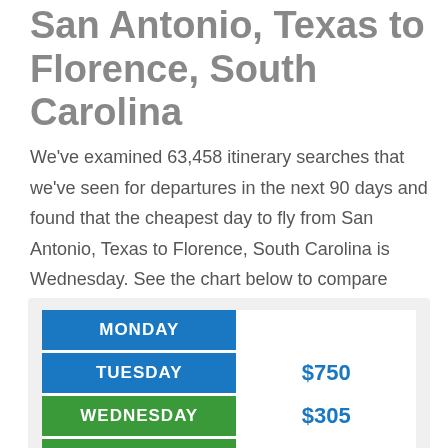San Antonio, Texas to Florence, South Carolina
We've examined 63,458 itinerary searches that we've seen for departures in the next 90 days and found that the cheapest day to fly from San Antonio, Texas to Florence, South Carolina is Wednesday. See the chart below to compare prices for other days of the week.
| Day | Price |
| --- | --- |
| MONDAY |  |
| TUESDAY | $750 |
| WEDNESDAY | $305 |
| THURSDAY | $305 |